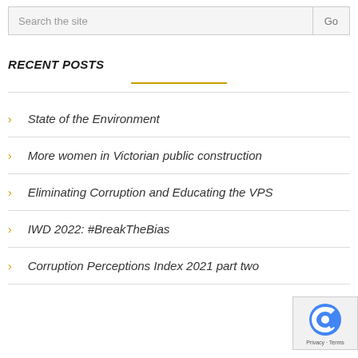Search the site  Go
RECENT POSTS
State of the Environment
More women in Victorian public construction
Eliminating Corruption and Educating the VPS
IWD 2022: #BreakTheBias
Corruption Perceptions Index 2021 part two